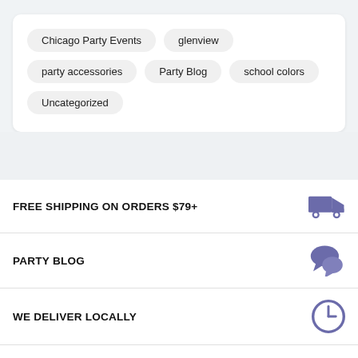Chicago Party Events
glenview
party accessories
Party Blog
school colors
Uncategorized
FREE SHIPPING ON ORDERS $79+
PARTY BLOG
WE DELIVER LOCALLY